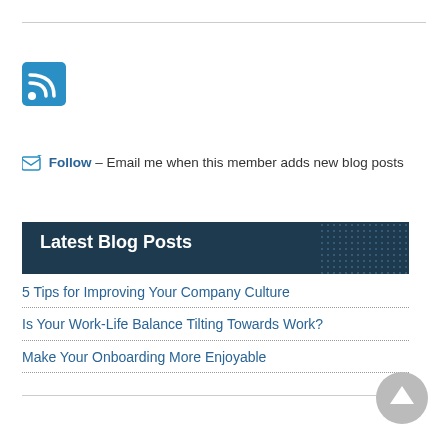[Figure (logo): RSS feed icon, blue square with white wifi/rss signal symbol]
✉ Follow – Email me when this member adds new blog posts
Latest Blog Posts
5 Tips for Improving Your Company Culture
Is Your Work-Life Balance Tilting Towards Work?
Make Your Onboarding More Enjoyable
Most Popular Blog Posts
Is Your Work-Life Balance Tilting Towards Work?
Make Your Onboarding More Enjoyable